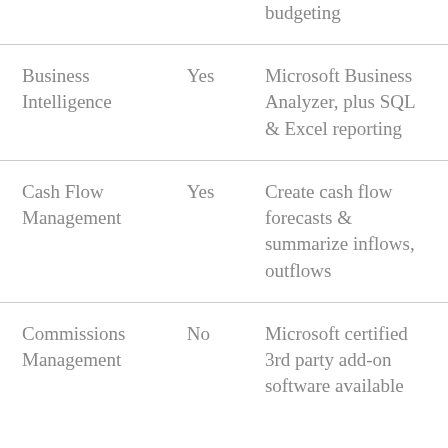|  |  | budgeting |
| Business Intelligence | Yes | Microsoft Business Analyzer, plus SQL & Excel reporting |
| Cash Flow Management | Yes | Create cash flow forecasts & summarize inflows, outflows |
| Commissions Management | No | Microsoft certified 3rd party add-on software available |